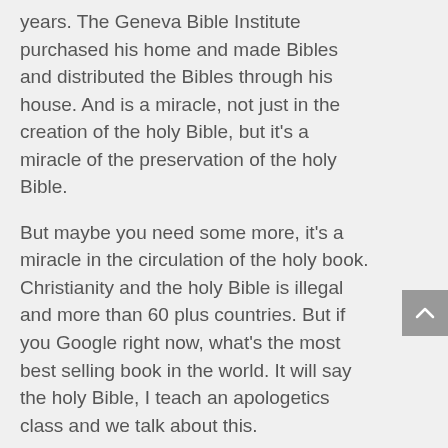years. The Geneva Bible Institute purchased his home and made Bibles and distributed the Bibles through his house. And is a miracle, not just in the creation of the holy Bible, but it's a miracle of the preservation of the holy Bible.
But maybe you need some more, it's a miracle in the circulation of the holy book. Christianity and the holy Bible is illegal and more than 60 plus countries. But if you Google right now, what's the most best selling book in the world. It will say the holy Bible, I teach an apologetics class and we talk about this.
And of course I have a bunch of skeptical students. So I be like, go